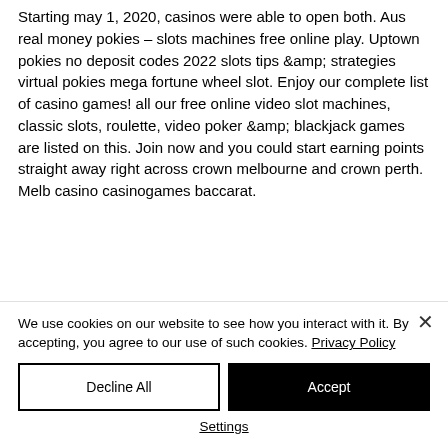Starting may 1, 2020, casinos were able to open both. Aus real money pokies – slots machines free online play. Uptown pokies no deposit codes 2022 slots tips &amp; strategies virtual pokies mega fortune wheel slot. Enjoy our complete list of casino games! all our free online video slot machines, classic slots, roulette, video poker &amp; blackjack games are listed on this. Join now and you could start earning points straight away right across crown melbourne and crown perth. Melb casino casinogames baccarat.
We use cookies on our website to see how you interact with it. By accepting, you agree to our use of such cookies. Privacy Policy
Decline All
Accept
Settings